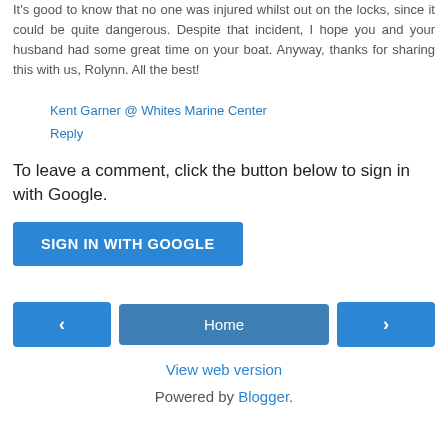It's good to know that no one was injured whilst out on the locks, since it could be quite dangerous. Despite that incident, I hope you and your husband had some great time on your boat. Anyway, thanks for sharing this with us, Rolynn. All the best!
Kent Garner @ Whites Marine Center
Reply
To leave a comment, click the button below to sign in with Google.
SIGN IN WITH GOOGLE
Home
View web version
Powered by Blogger.